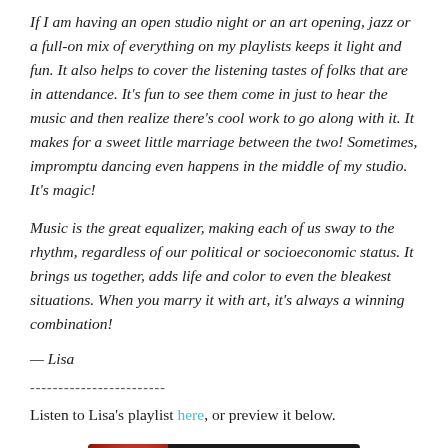If I am having an open studio night or an art opening, jazz or a full-on mix of everything on my playlists keeps it light and fun. It also helps to cover the listening tastes of folks that are in attendance. It's fun to see them come in just to hear the music and then realize there's cool work to go along with it. It makes for a sweet little marriage between the two! Sometimes, impromptu dancing even happens in the middle of my studio. It's magic!
Music is the great equalizer, making each of us sway to the rhythm, regardless of our political or socioeconomic status. It brings us together, adds life and color to even the bleakest situations. When you marry it with art, it's always a winning combination!
— Lisa
------------------------
Listen to Lisa's playlist here, or preview it below.
[Figure (screenshot): Spotify widget showing Brain Music Episode 38 by rochesterbrainery with a play button and Spotify logo on dark background]